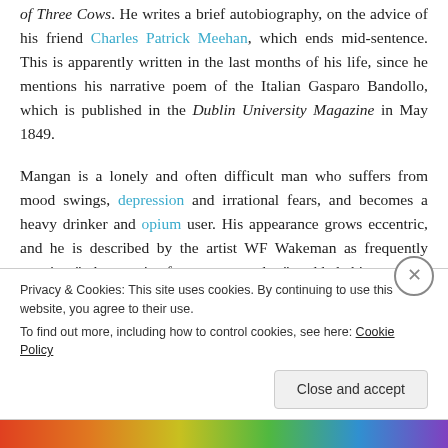of Three Cows. He writes a brief autobiography, on the advice of his friend Charles Patrick Meehan, which ends mid-sentence. This is apparently written in the last months of his life, since he mentions his narrative poem of the Italian Gasparo Bandollo, which is published in the Dublin University Magazine in May 1849.
Mangan is a lonely and often difficult man who suffers from mood swings, depression and irrational fears, and becomes a heavy drinker and opium user. His appearance grows eccentric, and he is described by the artist WF Wakeman as frequently wearing "a huge pair of green spectacles," padded shirts to hide his malnourished figure
Privacy & Cookies: This site uses cookies. By continuing to use this website, you agree to their use.
To find out more, including how to control cookies, see here: Cookie Policy
Close and accept